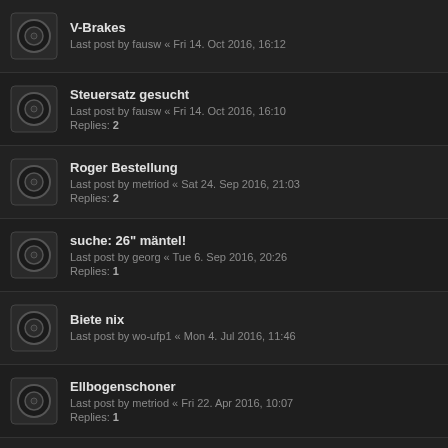V-Brakes
Last post by fausw « Fri 14. Oct 2016, 16:12
Steuersatz gesucht
Last post by fausw « Fri 14. Oct 2016, 16:10
Replies: 2
Roger Bestellung
Last post by metriod « Sat 24. Sep 2016, 21:03
Replies: 2
suche: 26" mäntel!
Last post by georg « Tue 6. Sep 2016, 20:26
Replies: 1
Biete nix
Last post by wo-ufp1 « Mon 4. Jul 2016, 11:46
Ellbogenschoner
Last post by metriod « Fri 22. Apr 2016, 10:07
Replies: 1
Sammelbestellung Captain-LAX
Last post by Mubeen « Mon 11. Apr 2016, 17:43
Replies: 2
polo bike for sale
Last post by jacky-knife « Wed 2. Dec 2015, 14:43